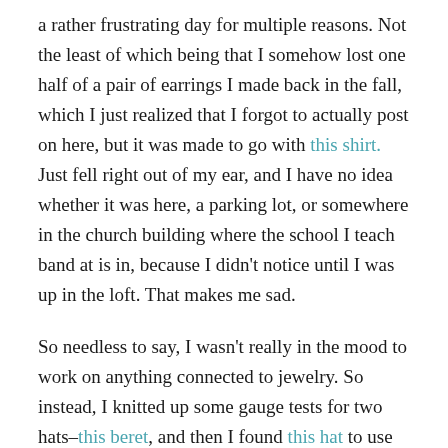a rather frustrating day for multiple reasons. Not the least of which being that I somehow lost one half of a pair of earrings I made back in the fall, which I just realized that I forgot to actually post on here, but it was made to go with this shirt. Just fell right out of my ear, and I have no idea whether it was here, a parking lot, or somewhere in the church building where the school I teach band at is in, because I didn't notice until I was up in the loft. That makes me sad.
So needless to say, I wasn't really in the mood to work on anything connected to jewelry. So instead, I knitted up some gauge tests for two hats–this beret, and then I found this hat to use up the rest of the Constellation Gloves yarn on. The chunky yarn swatch went great–fits exactly on the